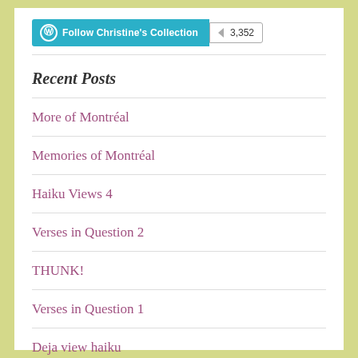[Figure (other): WordPress Follow button for Christine's Collection with follower count 3,352]
Recent Posts
More of Montréal
Memories of Montréal
Haiku Views 4
Verses in Question 2
THUNK!
Verses in Question 1
Deja view haiku